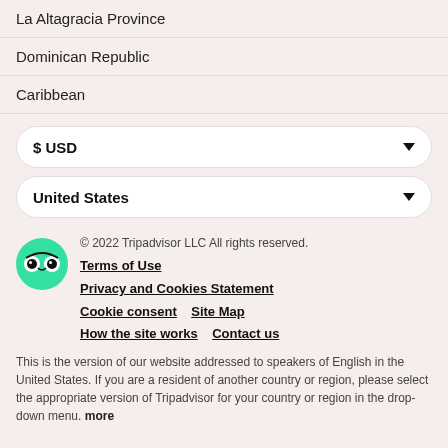La Altagracia Province
Dominican Republic
Caribbean
$ USD
United States
© 2022 Tripadvisor LLC All rights reserved.
Terms of Use
Privacy and Cookies Statement
Cookie consent    Site Map
How the site works    Contact us
This is the version of our website addressed to speakers of English in the United States. If you are a resident of another country or region, please select the appropriate version of Tripadvisor for your country or region in the drop-down menu. more